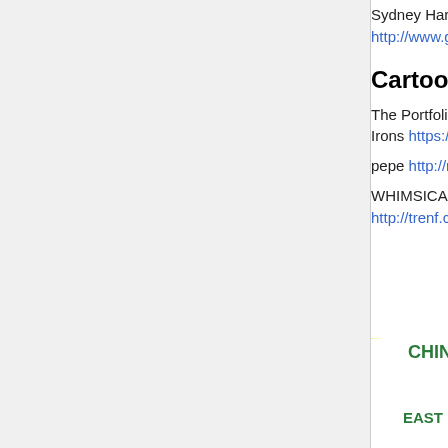Sydney Harbour Bridge from Sydney Observatory http://www.geeksaresexy.net/2012/01/29/gas-reader-gabriella-as-black-cat-pics/cat_and_canary/
Cartoons, Comics
The Portfolio of UNDERGROUND Art - Crumb, Robt. Williams, Spain, Rory Hayes, Griffin, Wilson, Irons https://youtu.be/PiiFQIY8EJc 🔒
pepe http://mattfurie.com
WHIMSICAL ILLUSTRATIONS OF CUTE PREDATORS DEVOURING THEIR SMILING PREY http://trenf.com/whimsical-illustrations-of-cute-predators-devouring-their-smiling-prey/
[Figure (other): Partial view of a circular/arc chart with yellow and grey bands, with text labels including CHINA, EAST, SINGAPO visible at the right edge]